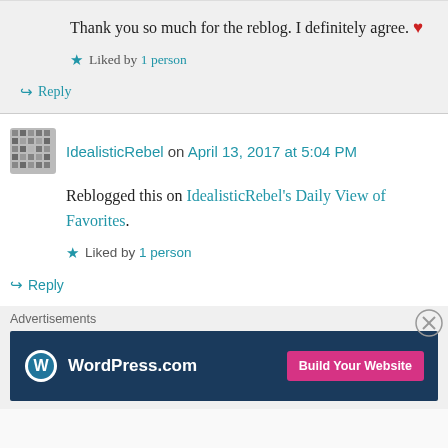Thank you so much for the reblog. I definitely agree. ❤
★ Liked by 1 person
↪ Reply
IdealisticRebel on April 13, 2017 at 5:04 PM
Reblogged this on IdealisticRebel's Daily View of Favorites.
★ Liked by 1 person
↪ Reply
[Figure (screenshot): WordPress.com advertisement banner with blue background, WordPress logo, and pink 'Build Your Website' button]
Advertisements